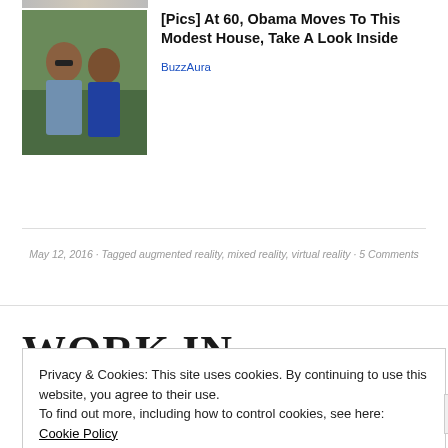[Figure (photo): Partial top strip of a photo thumbnail, cropped at top of page]
[Figure (photo): Photo of two people (man wearing sunglasses and woman in blue) standing outdoors with greenery behind them]
[Pics] At 60, Obama Moves To This Modest House, Take A Look Inside
BuzzAura
May 12, 2016 · Tagged augmented reality, mixed reality, virtual reality · 5 Comments
WORK IN PROGRESS AND
Privacy & Cookies: This site uses cookies. By continuing to use this website, you agree to their use.
To find out more, including how to control cookies, see here: Cookie Policy
Close and accept